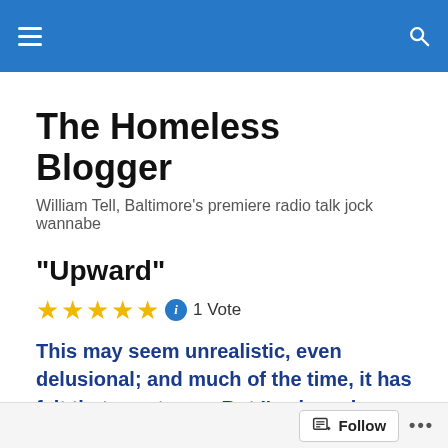The Homeless Blogger — navigation bar
The Homeless Blogger
William Tell, Baltimore's premiere radio talk jock wannabe
“Upward”
★★★★★ 1 Vote
This may seem unrealistic, even delusional; and much of the time, it has felt that way to me. But I’ve been here before, and know it’s not unrealistic at all. One drawback: it will pull me even farther away from the societal mainstream.  But if I feel a “call” toward something at all, it’s this, and I need to heed it.